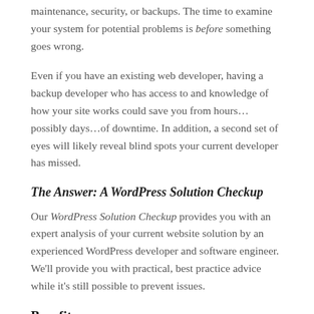maintenance, security, or backups. The time to examine your system for potential problems is before something goes wrong.
Even if you have an existing web developer, having a backup developer who has access to and knowledge of how your site works could save you from hours…possibly days…of downtime. In addition, a second set of eyes will likely reveal blind spots your current developer has missed.
The Answer: A WordPress Solution Checkup
Our WordPress Solution Checkup provides you with an expert analysis of your current website solution by an experienced WordPress developer and software engineer. We'll provide you with practical, best practice advice while it's still possible to prevent issues.
Benefits